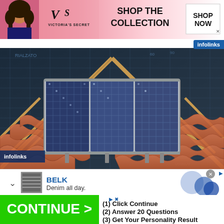[Figure (screenshot): Victoria's Secret advertisement banner with model, VS logo, 'SHOP THE COLLECTION' text, and 'SHOP NOW' button on pink background]
[Figure (photo): 3D rendering/illustration of three blue solar panels mounted on a terracotta tile roof with wooden framing visible, overlaid on architectural blueprint drawings. 'infolinks' label visible bottom-left.]
[Figure (screenshot): Belk advertisement banner showing 'BELK' in blue text and 'Denim all day.' tagline with thumbnail image and blue circle graphic]
[Figure (screenshot): Green 'CONTINUE >' button advertisement alongside quiz steps: (1) Click Continue, (2) Answer 20 Questions, (3) Get Your Personality Result]